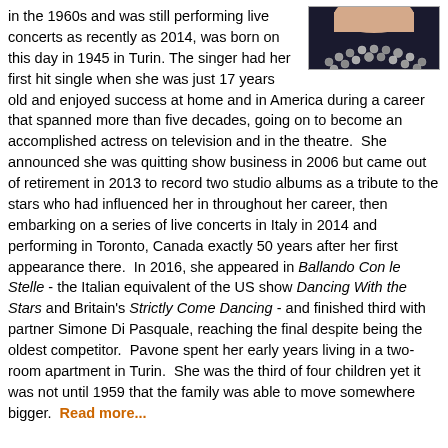[Figure (photo): A partial image of a person wearing a sparkling/beaded necklace, cropped at top right of page.]
in the 1960s and was still performing live concerts as recently as 2014, was born on this day in 1945 in Turin. The singer had her first hit single when she was just 17 years old and enjoyed success at home and in America during a career that spanned more than five decades, going on to become an accomplished actress on television and in the theatre.  She announced she was quitting show business in 2006 but came out of retirement in 2013 to record two studio albums as a tribute to the stars who had influenced her in throughout her career, then embarking on a series of live concerts in Italy in 2014 and performing in Toronto, Canada exactly 50 years after her first appearance there.  In 2016, she appeared in Ballando Con le Stelle - the Italian equivalent of the US show Dancing With the Stars and Britain's Strictly Come Dancing - and finished third with partner Simone Di Pasquale, reaching the final despite being the oldest competitor.  Pavone spent her early years living in a two-room apartment in Turin.  She was the third of four children yet it was not until 1959 that the family was able to move somewhere bigger.  Read more...